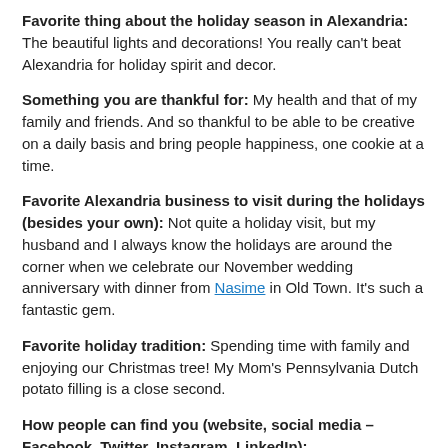Favorite thing about the holiday season in Alexandria: The beautiful lights and decorations! You really can't beat Alexandria for holiday spirit and decor.
Something you are thankful for: My health and that of my family and friends. And so thankful to be able to be creative on a daily basis and bring people happiness, one cookie at a time.
Favorite Alexandria business to visit during the holidays (besides your own): Not quite a holiday visit, but my husband and I always know the holidays are around the corner when we celebrate our November wedding anniversary with dinner from Nasime in Old Town. It's such a fantastic gem.
Favorite holiday tradition: Spending time with family and enjoying our Christmas tree! My Mom's Pennsylvania Dutch potato filling is a close second.
How people can find you (website, social media – Facebook, Twitter, Instagram, LinkedIn):
Website – https://www.frompoliticstopastry.com
Facebook – https://www.facebook.com/frompoliticstopastry